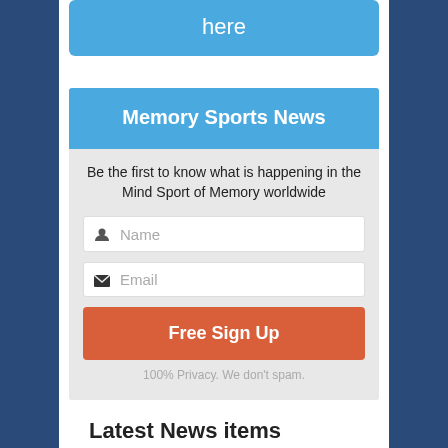here
Memory Sports News
Be the first to know what is happening in the Mind Sport of Memory worldwide
Name
Email
Free Sign Up
100% Privacy. We don't spam.
Latest News items
Important Notice: The 31st World Memory